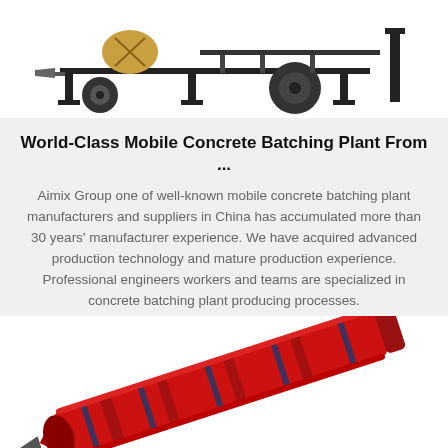[Figure (photo): Mobile concrete batching plant equipment on a trailer with wheels, black frame, shown from the side against a white background]
World-Class Mobile Concrete Batching Plant From ...
Aimix Group one of well-known mobile concrete batching plant manufacturers and suppliers in China has accumulated more than 30 years' manufacturer experience. We have acquired advanced production technology and mature production experience. Professional engineers workers and teams are specialized in concrete batching plant producing processes.
Get Price
[Figure (photo): Red heavy drilling or boring machine equipment, large cylindrical red tool, shown diagonally against a white background]